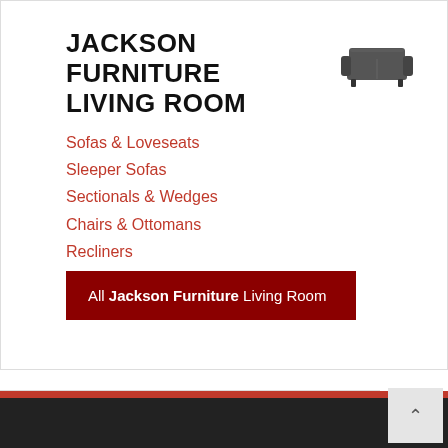JACKSON FURNITURE LIVING ROOM
[Figure (illustration): Dark grey sofa/couch icon illustration]
Sofas & Loveseats
Sleeper Sofas
Sectionals & Wedges
Chairs & Ottomans
Recliners
Groupsets
All Jackson Furniture Living Room